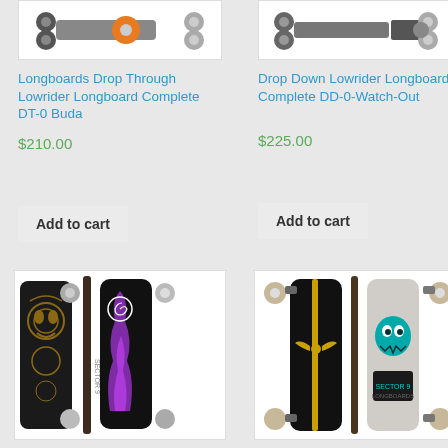[Figure (photo): Longboard skateboard product image top left - showing wheels and board from above]
Longboards Drop Through Lowrider Longboard Complete DT-0 Buda
$210.00
Add to cart
[Figure (photo): Longboard skateboard product image top right - showing wheels and board from above]
Drop Down Lowrider Longboard Complete DD-0-Watch-Out
$225.00
Add to cart
[Figure (photo): Longboard skateboard bottom left - dark board with tribal face design and purple flame graphic]
[Figure (photo): Longboard skateboard bottom right - black board with gold stripe and light colored board with teal monster graphic]